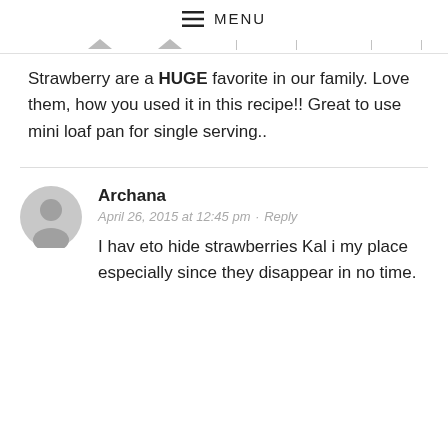MENU
Strawberry are a HUGE favorite in our family. Love them, how you used it in this recipe!! Great to use mini loaf pan for single serving..
Archana
April 26, 2015 at 12:45 pm · Reply
I hav eto hide strawberries Kal i my place especially since they disappear in no time.